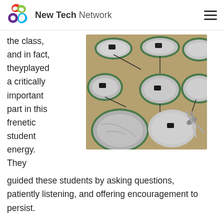New Tech Network
the class, and in fact, theyplayed a critically important part in this frenetic student energy. They
[Figure (photo): Overhead view of student-made circular devices wrapped in aluminum foil and green paper on a brown table, with wires and scissors visible]
guided these students by asking questions, patiently listening, and offering encouragement to persist.